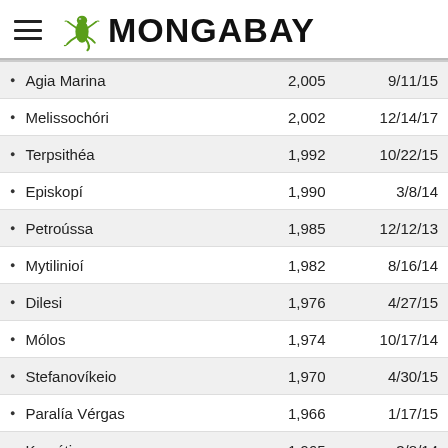MONGABAY
Agia Marina	2,005	9/11/15
Melissochóri	2,002	12/14/17
Terpsithéa	1,992	10/22/15
Episkopí	1,990	3/8/14
Petroússa	1,985	12/12/13
Mytilinioí	1,982	8/16/14
Dilesi	1,976	4/27/15
Mólos	1,974	10/17/14
Stefanovíkeio	1,970	4/30/15
Paralía Vérgas	1,966	1/17/15
Karyótissa	1,965	3/8/14
Thérmo	1,957	3/8/17